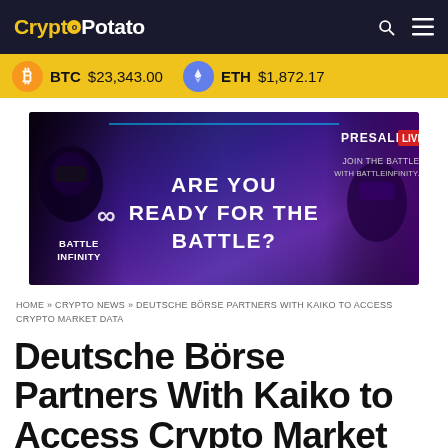CryptoPotato
BTC $23,343.00   ETH $1,872.17
[Figure (illustration): Battle Infinity advertisement banner: purple/dark background with figures in VR headsets, text 'ARE YOU READY FOR THE BATTLE?' and 'BATTLE INFINITY', 'PRESALE LIVE JOIN THE BATTLE WITH BATTLEINFINITY.IO']
HOME » CRYPTO NEWS » DEUTSCHE BÖRSE PARTNERS WITH KAIKO TO ACCESS CRYPTO MARKET DATA
Deutsche Börse Partners With Kaiko to Access Crypto Market Data